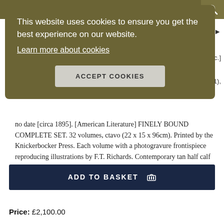This website uses cookies to ensure you get the best experience on our website.
Learn more about cookies
ACCEPT COOKIES
earch
r' etc.]
1),
no date [circa 1895]. [American Literature] FINELY BOUND COMPLETE SET. 32 volumes, ctavo (22 x 15 x 96cm). Printed by the Knickerbocker Press. Each volume with a photogravure frontispiece reproducing illustrations by F.T. Richards. Contemporary tan half calf with gilt titles to contrasting red..... More ›
ADD TO BASKET
Price: £2,100.00